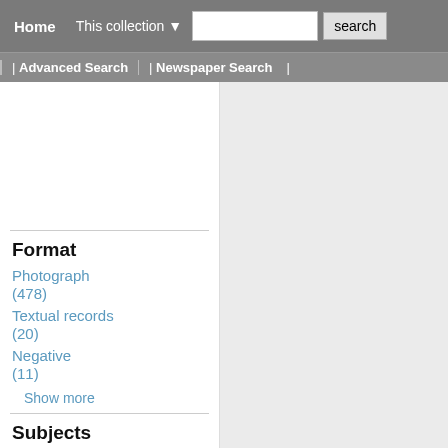Home | This collection ▼ [search box] search
Advanced Search | Newspaper Search
Format
Photograph (478)
Textual records (20)
Negative (11)
Show more
Subjects
Photographs (497)